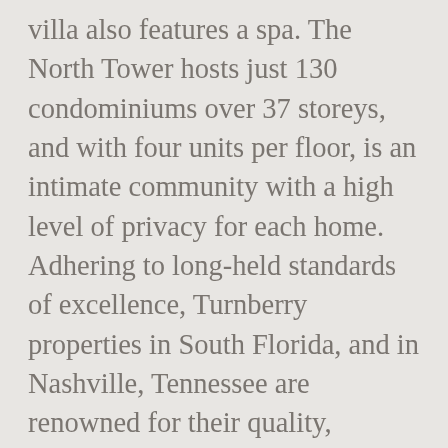villa also features a spa. The North Tower hosts just 130 condominiums over 37 storeys, and with four units per floor, is an intimate community with a high level of privacy for each home. Adhering to long-held standards of excellence, Turnberry properties in South Florida, and in Nashville, Tennessee are renowned for their quality, personalized services, inviting amenities, exceptional guest relations and unparalleled attention to detail. The apartments have grande, 10-foot ceiling heights, and certain collection duplex residences have 20-foot high living room and balcony ceilings. activities (monthly dues not included in condominium maintenance). Rising 30 stories above the gleaming waters